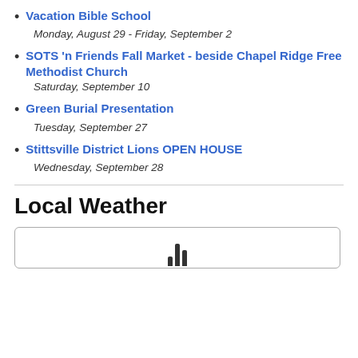Vacation Bible School
Monday, August 29 - Friday, September 2
SOTS 'n Friends Fall Market - beside Chapel Ridge Free Methodist Church
Saturday, September 10
Green Burial Presentation
Tuesday, September 27
Stittsville District Lions OPEN HOUSE
Wednesday, September 28
Local Weather
[Figure (other): Partial weather widget box with weather icon bars visible at bottom]